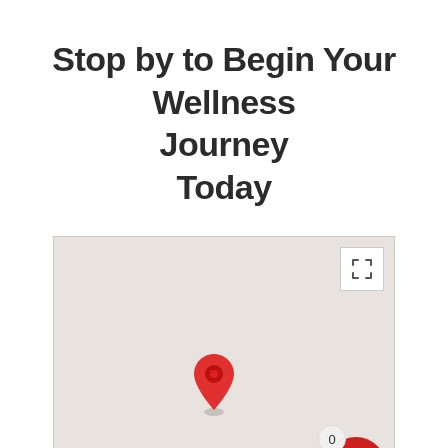Stop by to Begin Your Wellness Journey Today
[Figure (map): Google Maps-style static map showing a location pin (red teardrop marker) in the center of a gray map area, with a fullscreen icon button in the top-right corner and a red shopping cart button with badge showing '0' in the bottom-right corner.]